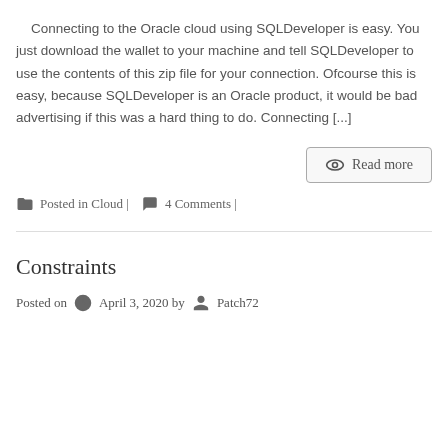Connecting to the Oracle cloud using SQLDeveloper is easy. You just download the wallet to your machine and tell SQLDeveloper to use the contents of this zip file for your connection. Ofcourse this is easy, because SQLDeveloper is an Oracle product, it would be bad advertising if this was a hard thing to do. Connecting [...]
Read more
Posted in Cloud | 4 Comments |
Constraints
Posted on April 3, 2020 by Patch72